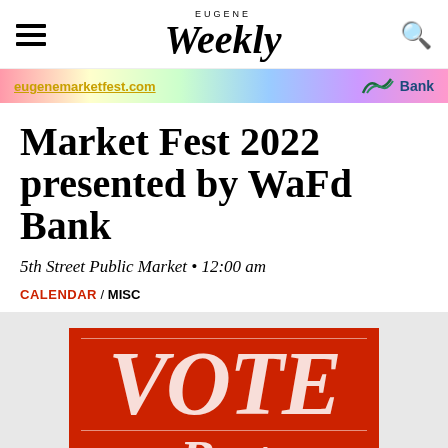EUGENE Weekly
[Figure (illustration): Colorful advertisement banner with text 'eugenemarketfest.com' and WaFd Bank logo]
Market Fest 2022 presented by WaFd Bank
5th Street Public Market • 12:00 am
CALENDAR / MISC
[Figure (illustration): Red promotional graphic with large white italic text reading VOTE and partially visible text Best]